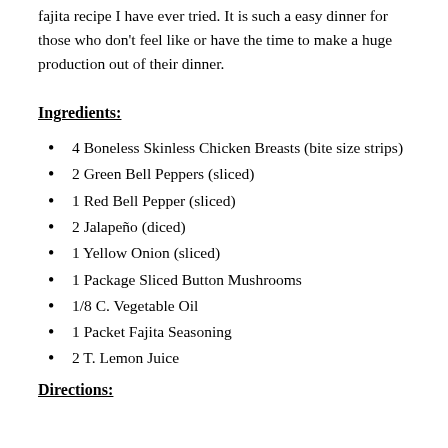fajita recipe I have ever tried. It is such a easy dinner for those who don't feel like or have the time to make a huge production out of their dinner.
Ingredients:
4 Boneless Skinless Chicken Breasts (bite size strips)
2 Green Bell Peppers (sliced)
1 Red Bell Pepper (sliced)
2 Jalapeño (diced)
1 Yellow Onion (sliced)
1 Package Sliced Button Mushrooms
1/8 C. Vegetable Oil
1 Packet Fajita Seasoning
2 T. Lemon Juice
Directions: